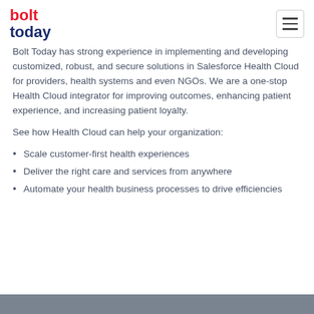bolt today
Bolt Today has strong experience in implementing and developing customized, robust, and secure solutions in Salesforce Health Cloud for providers, health systems and even NGOs. We are a one-stop Health Cloud integrator for improving outcomes, enhancing patient experience, and increasing patient loyalty.
See how Health Cloud can help your organization:
Scale customer-first health experiences
Deliver the right care and services from anywhere
Automate your health business processes to drive efficiencies